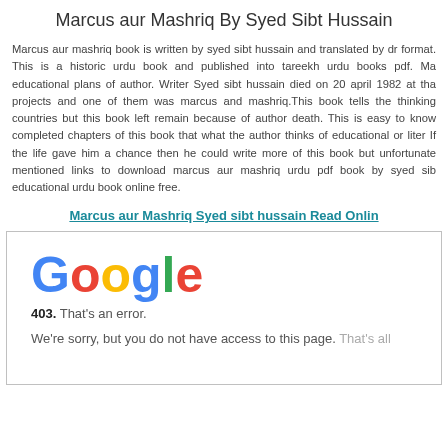Marcus aur Mashriq By Syed Sibt Hussain
Marcus aur mashriq book is written by syed sibt hussain and translated by dr format. This is a historic urdu book and published into tareekh urdu books pdf. Ma educational plans of author. Writer Syed sibt hussain died on 20 april 1982 at tha projects and one of them was marcus and mashriq.This book tells the thinking countries but this book left remain because of author death. This is easy to know completed chapters of this book that what the author thinks of educational or liter If the life gave him a chance then he could write more of this book but unfortunate mentioned links to download marcus aur mashriq urdu pdf book by syed sib educational urdu book online free.
Marcus aur Mashriq Syed sibt hussain Read Online
[Figure (screenshot): Google 403 error page screenshot showing Google logo, '403. That's an error.' message, and 'We're sorry, but you do not have access to this page. That's all']